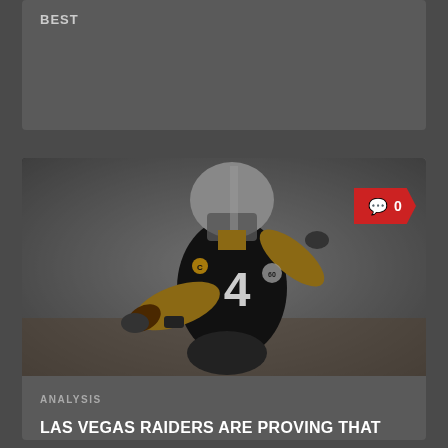BEST
[Figure (photo): NFL quarterback wearing number 4 black jersey (Las Vegas Raiders) in throwing stance, holding football, helmet on, blurred crowd background]
0
ANALYSIS
LAS VEGAS RAIDERS ARE PROVING THAT THEY ARE A REAL THREAT IN THE AFC WEST